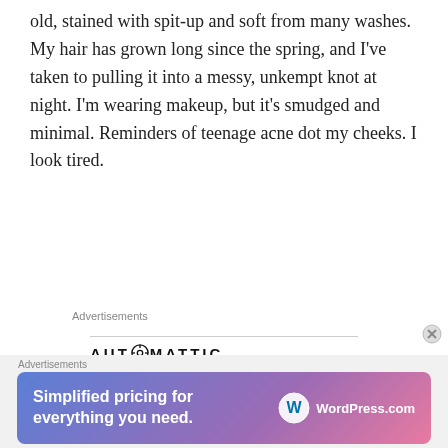old, stained with spit-up and soft from many washes. My hair has grown long since the spring, and I've taken to pulling it into a messy, unkempt knot at night. I'm wearing makeup, but it's smudged and minimal. Reminders of teenage acne dot my cheeks. I look tired.
Advertisements
[Figure (logo): Automattic logo with compass-like O icon and bold uppercase lettering: AUTOMATTIC]
[Figure (infographic): Automattic advertisement: 'Build a better web and a better world.' with Apply button and circular photo of a man]
Advertisements
[Figure (infographic): WordPress.com advertisement banner: 'Simplified pricing for everything you need.' with gradient pink-purple-blue background and WordPress.com logo]